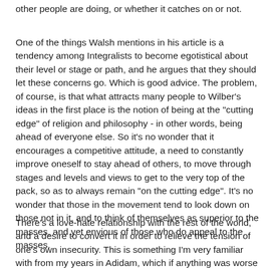other people are doing, or whether it catches on or not.
One of the things Walsh mentions in his article is a tendency among Integralists to become egotistical about their level or stage or path, and he argues that they should let these concerns go. Which is good advice. The problem, of course, is that what attracts many people to Wilber's ideas in the first place is the notion of being at the "cutting edge" of religion and philosophy - in other words, being ahead of everyone else. So it's no wonder that it encourages a competitive attitude, a need to constantly improve oneself to stay ahead of others, to move through stages and levels and views to get to the very top of the pack, so as to always remain "on the cutting edge". It's no wonder that those in the movement tend to look down on those not in it, and to think of themselves as superior to the masses, and yet envious of those who do appeal to the masses.
There's a love-hate relationship with the rest of the world, and a desire to convert it in order to relieve the tension of one's own insecurity. This is something I'm very familiar with from my years in Adidam, which if anything was worse than